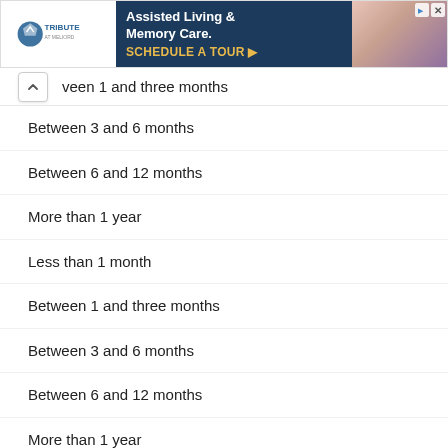[Figure (screenshot): Advertisement banner for Tribute at Meliodd assisted living and memory care facility with schedule a tour CTA]
Between 1 and three months
Between 3 and 6 months
Between 6 and 12 months
More than 1 year
Less than 1 month
Between 1 and three months
Between 3 and 6 months
Between 6 and 12 months
More than 1 year
Less than 1 month